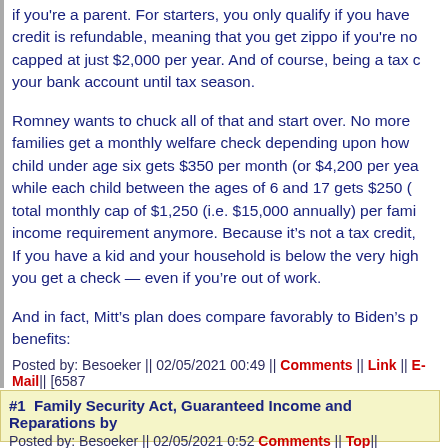if you're a parent. For starters, you only qualify if you have credit is refundable, meaning that you get zippo if you're no capped at just $2,000 per year. And of course, being a tax c your bank account until tax season.

Romney wants to chuck all of that and start over. No more families get a monthly welfare check depending upon how child under age six gets $350 per month (or $4,200 per yea while each child between the ages of 6 and 17 gets $250 ( total monthly cap of $1,250 (i.e. $15,000 annually) per fami income requirement anymore. Because it's not a tax credit, If you have a kid and your household is below the very high you get a check — even if you're out of work.

And in fact, Mitt's plan does compare favorably to Biden's p benefits:
Posted by: Besoeker || 02/05/2021 00:49 || Comments || Link || E-Mail|| [6587
#1  Family Security Act, Guaranteed Income and Reparations by
Posted by: Besoeker || 02/05/2021 0:52 Comments || Top||
#2  Their "families'" security => normal families' insecurity
= Tranny story hour
= Dudes in mascara inside the little girls' bathrooms